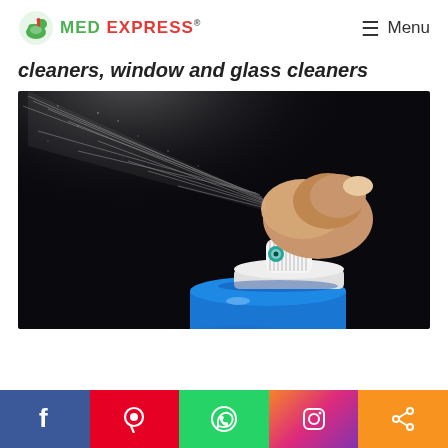MED EXPRESS® — Menu
cleaners, window and glass cleaners
[Figure (photo): Close-up of a hand pressing the nozzle of a spray can, spraying a fine mist against a dark background, with a blue aerosol can body visible at the bottom.]
Social share bar: Facebook, Pinterest, WhatsApp, Instagram, Share